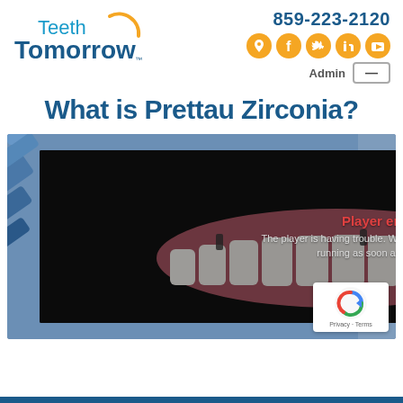[Figure (logo): Teeth Tomorrow logo with orange arc and blue text]
859-223-2120
[Figure (infographic): Social media icons: location, Facebook, Twitter, LinkedIn, YouTube]
Admin
What is Prettau Zirconia?
[Figure (screenshot): Video player showing Prettau Zirconia dental implants with a player error message overlay reading 'Player error. The player is having trouble. We'll have it back up and running as soon as possible.']